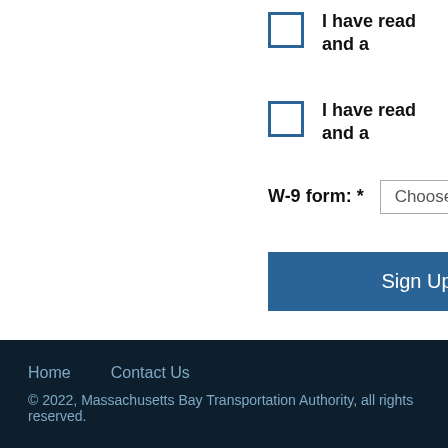I have read and a
I have read and a
W-9 form: *  Choose
Sign Up
Home   Contact Us
© 2022, Massachusetts Bay Transportation Authority, all rights reserved.